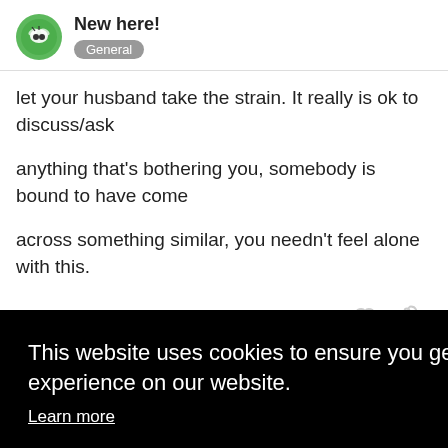New here! General
let your husband take the strain. It really is ok to discuss/ask
anything that's bothering you, somebody is bound to have come
across something similar, you needn't feel alone with this.
This website uses cookies to ensure you get the best experience on our website. Learn more Got it!